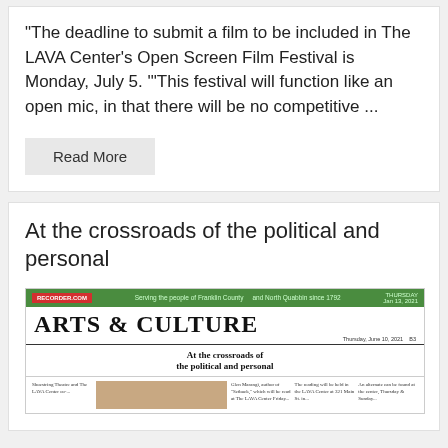"The deadline to submit a film to be included in The LAVA Center's Open Screen Film Festival is Monday, July 5. '"This festival will function like an open mic, in that there will be no competitive ...
Read More
At the crossroads of the political and personal
[Figure (screenshot): Newspaper page showing ARTS & CULTURE section header with article 'At the crossroads of the political and personal']